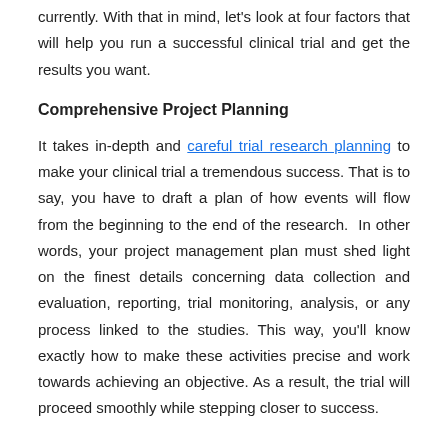currently. With that in mind, let's look at four factors that will help you run a successful clinical trial and get the results you want.
Comprehensive Project Planning
It takes in-depth and careful trial research planning to make your clinical trial a tremendous success. That is to say, you have to draft a plan of how events will flow from the beginning to the end of the research. In other words, your project management plan must shed light on the finest details concerning data collection and evaluation, reporting, trial monitoring, analysis, or any process linked to the studies. This way, you'll know exactly how to make these activities precise and work towards achieving an objective. As a result, the trial will proceed smoothly while stepping closer to success.